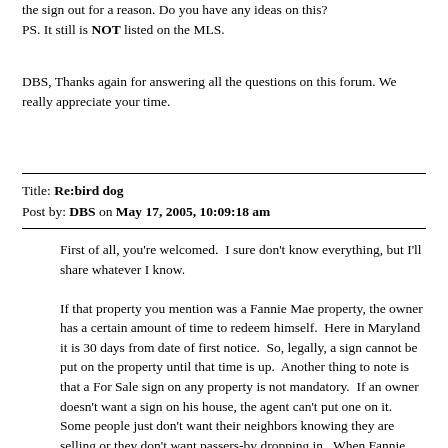the sign out for a reason. Do you have any ideas on this? PS. It still is NOT listed on the MLS.
DBS, Thanks again for answering all the questions on this forum. We really appreciate your time.
Title: Re:bird dog
Post by: DBS on May 17, 2005, 10:09:18 am
First of all, you're welcomed. I sure don't know everything, but I'll share whatever I know.

If that property you mention was a Fannie Mae property, the owner has a certain amount of time to redeem himself. Here in Maryland it is 30 days from date of first notice. So, legally, a sign cannot be put on the property until that time is up. Another thing to note is that a For Sale sign on any property is not mandatory. If an owner doesn't want a sign on his house, the agent can't put one on it. Some people just don't want their neighbors knowing they are selling or they don't want passers-by dropping in. When Fannie Mae turns the property over to an agent to list, he is given a "lock out" date which means this is the date the house is officially LOCKED and the owner cannot enter again. THEN, the agent can put it in multiple list and accept offers. He may never even put a sign on it. Many people (myself included) go to the courthouse periodically and identify pre-foreclosure houses and keep track of their time frame for my investor clients. Many times, we approach the